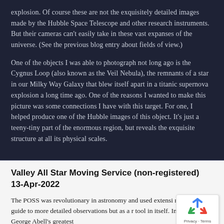explosion. Of course these are not the exquisitely detailed images made by the Hubble Space Telescope and other research instruments. But their cameras can't easily take in these vast expanses of the universe. (See the previous blog entry about fields of view.)
One of the objects I was able to photograph not long ago is the Cygnus Loop (also known as the Veil Nebula), the remnants of a star in our Milky Way Galaxy that blew itself apart in a titanic supernova explosion a long time ago. One of the reasons I wanted to make this picture was some connections I have with this target. For one, I helped produce one of the Hubble images of this object. It's just a teeny-tiny part of the enormous region, but reveals the exquisite structure at all its physical scales.
Valley All Star Moving Service (non-registered)
13-Apr-2022
The POSS was revolutionary in astronomy and used extensi... not only as a guide to more detailed observations but as a r... tool in itself. In fact one of George Abell's greatest
[Figure (other): Google reCAPTCHA badge with recycling-arrow logo icon and 'Privacy - Terms' text]